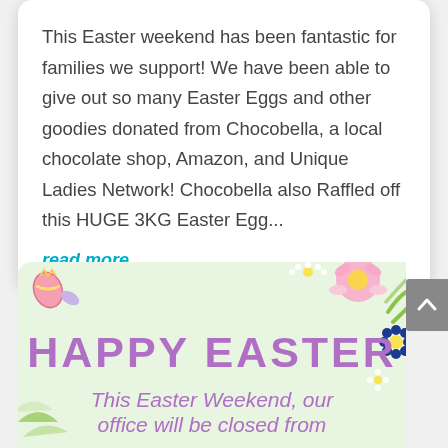This Easter weekend has been fantastic for families we support! We have been able to give out so many Easter Eggs and other goodies donated from Chocobella, a local chocolate shop, Amazon, and Unique Ladies Network! Chocobella also Raffled off this HUGE 3KG Easter Egg...
read more
[Figure (illustration): Easter greeting card with light green background, floral decorations in corners (pink, yellow, blue flowers and green leaves), Easter egg decoration top-left, bold purple 'HAPPY EASTER' title, and italic purple subtitle 'This Easter Weekend, our office will be closed from']